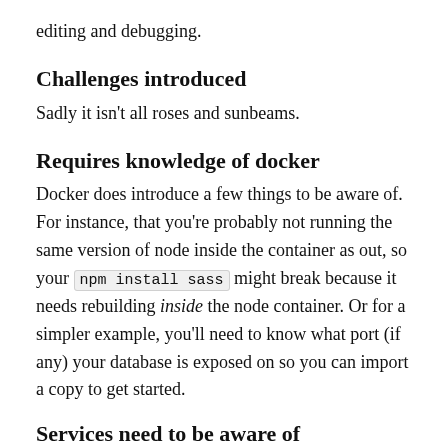editing and debugging.
Challenges introduced
Sadly it isn't all roses and sunbeams.
Requires knowledge of docker
Docker does introduce a few things to be aware of. For instance, that you're probably not running the same version of node inside the container as out, so your npm install sass might break because it needs rebuilding inside the node container. Or for a simpler example, you'll need to know what port (if any) your database is exposed on so you can import a copy to get started.
Services need to be aware of eachother's